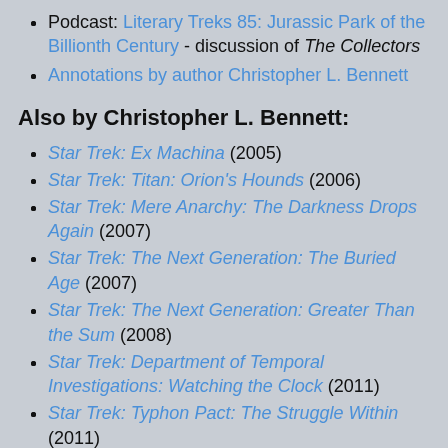Podcast: Literary Treks 85: Jurassic Park of the Billionth Century - discussion of The Collectors
Annotations by author Christopher L. Bennett
Also by Christopher L. Bennett:
Star Trek: Ex Machina (2005)
Star Trek: Titan: Orion's Hounds (2006)
Star Trek: Mere Anarchy: The Darkness Drops Again (2007)
Star Trek: The Next Generation: The Buried Age (2007)
Star Trek: The Next Generation: Greater Than the Sum (2008)
Star Trek: Department of Temporal Investigations: Watching the Clock (2011)
Star Trek: Typhon Pact: The Struggle Within (2011)
Star Trek: Department of Temporal Investigations: [truncated] (201?)